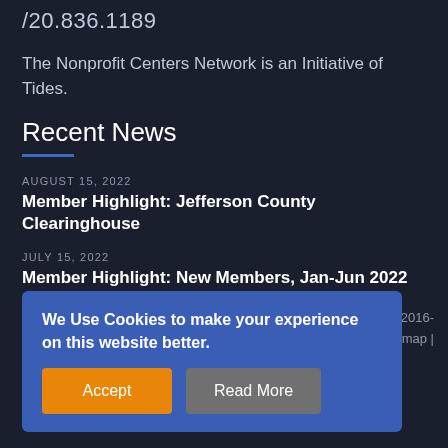/20.836.1189
The Nonprofit Centers Network is an Initiative of Tides.
Recent News
AUGUST 15, 2022
Member Highlight: Jefferson County Clearinghouse
JULY 15, 2022
Member Highlight: New Members, Jan-Jun 2022
rk 2016-
Sitemap |
We Use Cookies to make your experience on this website better.